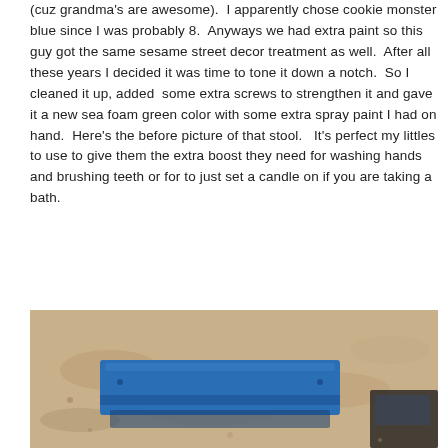(cuz grandma's are awesome).  I apparently chose cookie monster blue since I was probably 8.  Anyways we had extra paint so this guy got the same sesame street decor treatment as well.  After all these years I decided it was time to tone it down a notch.  So I cleaned it up, added  some extra screws to strengthen it and gave it a new sea foam green color with some extra spray paint I had on hand.  Here's the before picture of that stool.   It's perfect my littles to use to give them the extra boost they need for washing hands and brushing teeth or for to just set a candle on if you are taking a bath.
[Figure (photo): Photo of a blue painted wooden stool on sandy/dirt ground, viewed from above at a slight angle. The stool top is bright blue and a dark object is visible at the lower right.]